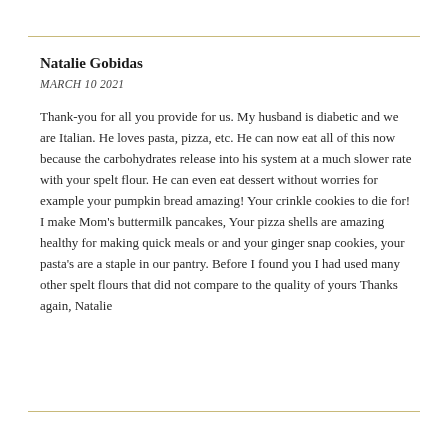Natalie Gobidas
MARCH 10 2021
Thank-you for all you provide for us. My husband is diabetic and we are Italian. He loves pasta, pizza, etc. He can now eat all of this now because the carbohydrates release into his system at a much slower rate with your spelt flour. He can even eat dessert without worries for example your pumpkin bread amazing! Your crinkle cookies to die for! I make Mom's buttermilk pancakes, Your pizza shells are amazing healthy for making quick meals or and your ginger snap cookies, your pasta's are a staple in our pantry. Before I found you I had used many other spelt flours that did not compare to the quality of yours Thanks again, Natalie